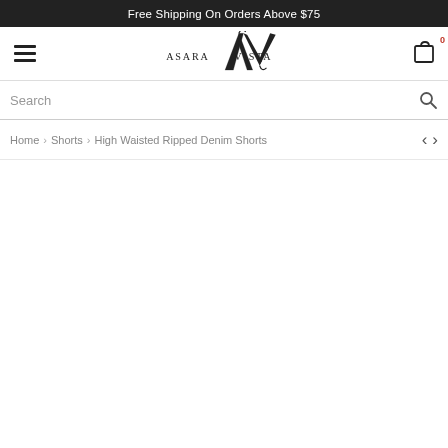Free Shipping On Orders Above $75
[Figure (logo): Asara Vista brand logo with stylized AV monogram]
Search
Home > Shorts > High Waisted Ripped Denim Shorts